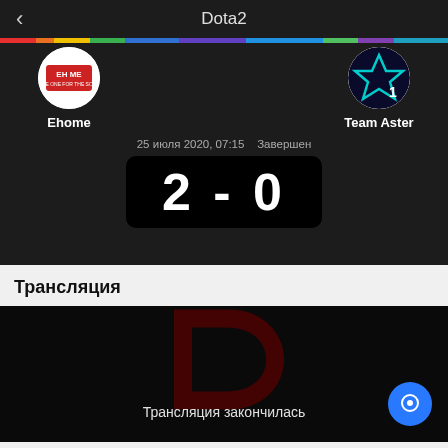Dota2
[Figure (infographic): Match result screen showing Ehome vs Team Aster with score 2-0, date 25 июля 2020 07:15, status Завершен]
Ehome
Team Aster
25 июля 2020, 07:15   Завершен
2 - 0
Трансляция
[Figure (screenshot): Video player showing Dota 2 logo on dark background with text 'Трансляция закончилась' and a blue chat button]
Трансляция закончилась